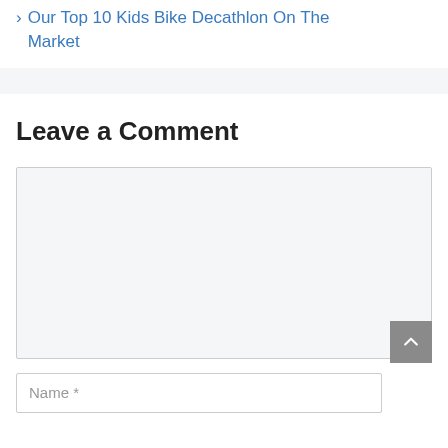› Our Top 10 Kids Bike Decathlon On The Market
Leave a Comment
Name *